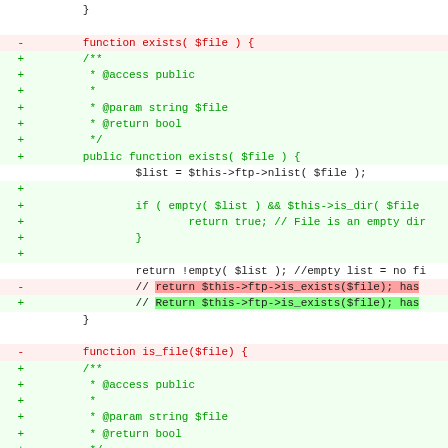Code diff showing function exists() and function is_file() with added JSDoc comments and public access modifiers
[Figure (screenshot): Unified diff of PHP code showing removal/addition of function exists() with JSDoc and public keyword, and start of function is_file() with similar docblock]